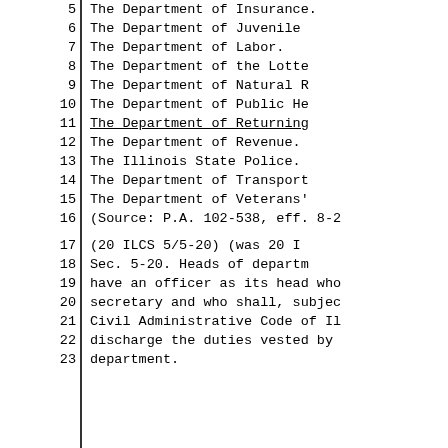5    The Department of Insurance.
6    The Department of Juvenile
7    The Department of Labor.
8    The Department of the Lotte
9    The Department of Natural R
10   The Department of Public He
11   The Department of Returning
12   The Department of Revenue.
13   The Illinois State Police.
14   The Department of Transport
15   The Department of Veterans'
16   (Source: P.A. 102-538, eff. 8-2
17   (20 ILCS 5/5-20) (was 20 I
18   Sec. 5-20. Heads of departm
19   have an officer as its head who
20   secretary and who shall, subjec
21   Civil Administrative Code of Il
22   discharge the duties vested by
23   department.